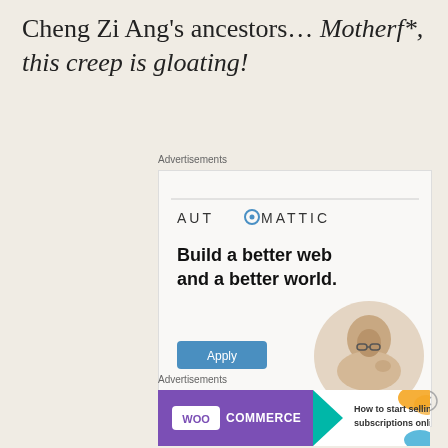Cheng Zi Ang's ancestors… Motherf*, this creep is gloating!
Advertisements
[Figure (illustration): Automattic advertisement: white/light gray background, Automattic logo at top, headline 'Build a better web and a better world.', blue Apply button, circular photo of a man thinking]
Advertisements
[Figure (illustration): WooCommerce advertisement: purple background with WooCommerce logo and teal arrow graphic, white area with text 'How to start selling subscriptions online', orange and teal decorative shapes]